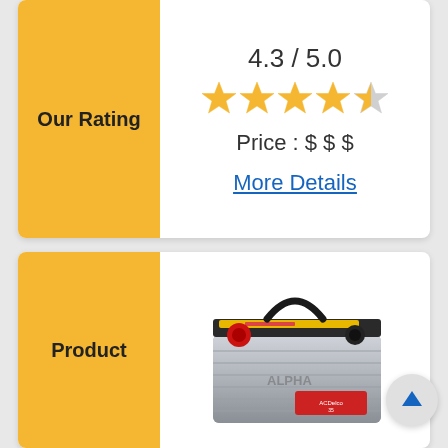4.3 / 5.0
[Figure (infographic): Five star rating icons showing 4.3 out of 5 stars: four full gold stars and one half gold star]
Price : $ $ $
More Details
Our Rating
Product
[Figure (photo): ACDelco car battery, silver/grey colored, with black top, red positive terminal cap, handle, and ACDelco branding label on the side]